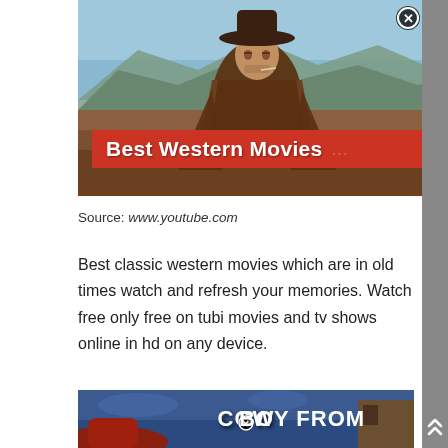[Figure (screenshot): A cowboy figure in poncho and hat standing in a Western landscape with mountains in background. Red banner overlay reads 'Best Western Movies' in white bold text. Close button (X) in top right.]
Source: www.youtube.com
Best classic western movies which are in old times watch and refresh your memories. Watch free only free on tubi movies and tv shows online in hd on any device.
[Figure (screenshot): Partial image at bottom showing 'COWBOY FROM' text in white bold letters over a dark blue western sky background with a red cowboy hat visible at the left edge.]